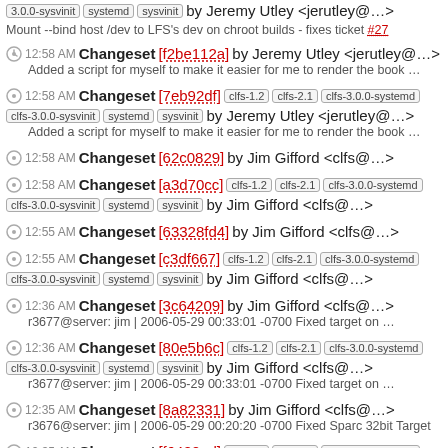3.0.0-sysvinit systemd sysvinit by Jeremy Utley <jerutley@...>
Mount --bind host /dev to LFS's dev on chroot builds - fixes ticket #27
12:58 AM Changeset [f2be112a] by Jeremy Utley <jerutley@...>
Added a script for myself to make it easier for me to render the book ...
12:58 AM Changeset [7eb92df] clfs-1.2 clfs-2.1 clfs-3.0.0-systemd clfs-3.0.0-sysvinit systemd sysvinit by Jeremy Utley <jerutley@...>
Added a script for myself to make it easier for me to render the book ...
12:58 AM Changeset [62c0829] by Jim Gifford <clfs@...>
12:58 AM Changeset [a3d70cc] clfs-1.2 clfs-2.1 clfs-3.0.0-systemd clfs-3.0.0-sysvinit systemd sysvinit by Jim Gifford <clfs@...>
12:55 AM Changeset [63328fd4] by Jim Gifford <clfs@...>
12:55 AM Changeset [c3df667] clfs-1.2 clfs-2.1 clfs-3.0.0-systemd clfs-3.0.0-sysvinit systemd sysvinit by Jim Gifford <clfs@...>
12:36 AM Changeset [3c64209] by Jim Gifford <clfs@...>
r3677@server: jim | 2006-05-29 00:33:01 -0700 Fixed target on ...
12:36 AM Changeset [80e5b6c] clfs-1.2 clfs-2.1 clfs-3.0.0-systemd clfs-3.0.0-sysvinit systemd sysvinit by Jim Gifford <clfs@...>
r3677@server: jim | 2006-05-29 00:33:01 -0700 Fixed target on ...
12:35 AM Changeset [8a82331] by Jim Gifford <clfs@...>
r3676@server: jim | 2006-05-29 00:20:20 -0700 Fixed Sparc 32bit Target
12:35 AM Changeset [f6420ad] clfs-1.2 clfs-2.1 clfs-3.0.0-systemd clfs-3.0.0-sysvinit by Jim Gifford <clfs@...>